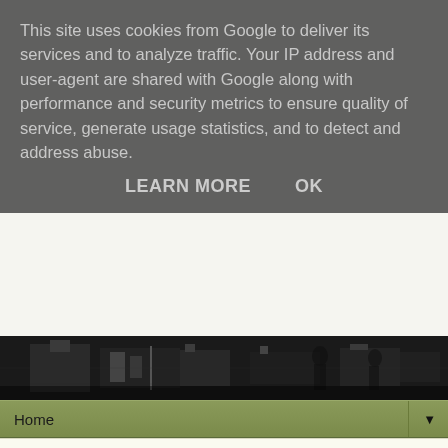This site uses cookies from Google to deliver its services and to analyze traffic. Your IP address and user-agent are shared with Google along with performance and security metrics to ensure quality of service, generate usage statistics, and to detect and address abuse.
LEARN MORE   OK
[Figure (photo): Black and white photograph used as website header banner]
Home ▼
Thursday, 25 January 2018
...coming soon NEW {EEG}
Eclectica³ Emma Godfrey ...coming soon from PaperArtsy
[Figure (photo): Colorful mixed-media art piece with blue swirls and orange/yellow hues, partially visible]